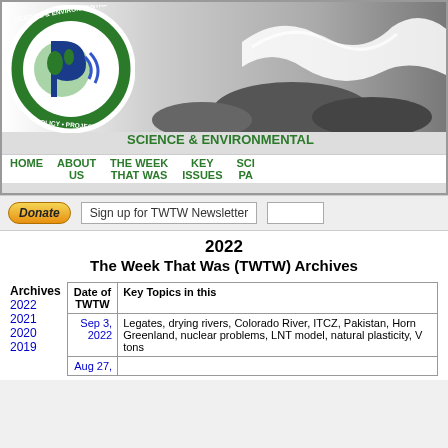[Figure (logo): Science & Environmental Policy Project logo - green circle with globe and stylized P symbol]
SCIENCE & ENVIRONMENTAL POLICY PROJECT
HOME | ABOUT US | THE WEEK THAT WAS | KEY ISSUES | SCI PA
Donate | Sign up for TWTW Newsletter
2022
The Week That Was (TWTW) Archives
| Date of TWTW | Key Topics in this |
| --- | --- |
| Sep 3, 2022 | Legates, drying rivers, Colorado River, ITCZ, Pakistan, Horn Greenland, nuclear problems, LNT model, natural plasticity, V tons |
| Aug 27, | ... |
Archives
2022
2021
2020
2019